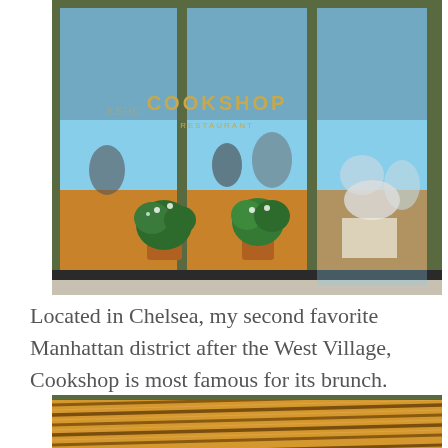[Figure (photo): Exterior street-level view of Cookshop restaurant in Chelsea, Manhattan. Large glass windows with green metal framing reveal potted plants and diners inside. The restaurant sign reading 'COOKSHOP RESTAURANT' is visible reflected/printed on the glass.]
Located in Chelsea, my second favorite Manhattan district after the West Village, Cookshop is most famous for its brunch.
[Figure (photo): Close-up of wood slat paneling, warm golden-brown tones with diagonal striped pattern, part of the Cookshop restaurant exterior or interior decor.]